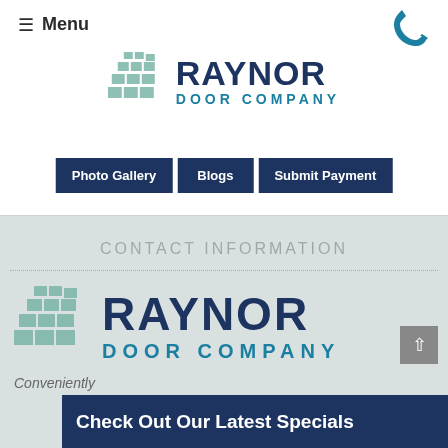≡ Menu
[Figure (logo): Raynor Door Company logo with grid icon and bold RAYNOR text above DOOR COMPANY in teal]
Photo Gallery
Blogs
Submit Payment
CONTACT INFORMATION
[Figure (logo): Raynor Door Company logo with grid icon and bold RAYNOR text above DOOR COMPANY in teal (larger version)]
Conveniently
Check Out Our Latest Specials